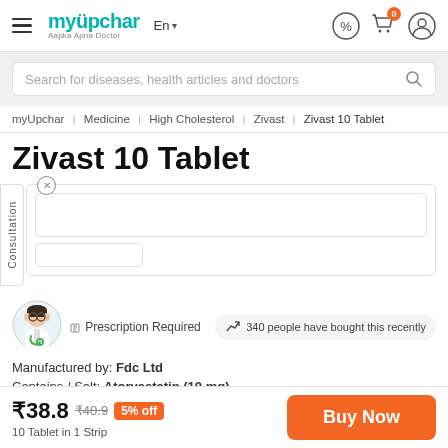myUpchar — Aapka Apna Doctor
Search for diseases, health articles and doctors
myUpchar | Medicine | High Cholesterol | Zivast | Zivast 10 Tablet
Zivast 10 Tablet
Prescription Required
340 people have bought this recently
Manufactured by: Fdc Ltd
Contains / Salt: Atorvastatin (10 mg)
₹38.8  ₹40.9  5% off
10 Tablet in 1 Strip
Buy Now